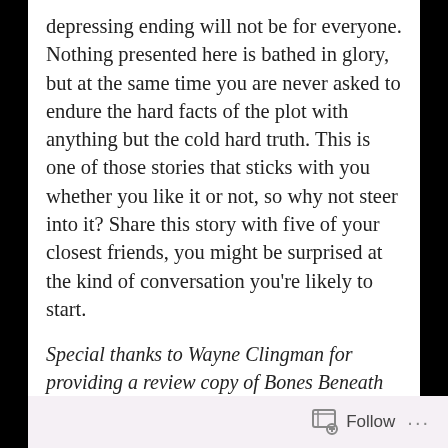depressing ending will not be for everyone. Nothing presented here is bathed in glory, but at the same time you are never asked to endure the hard facts of the plot with anything but the cold hard truth. This is one of those stories that sticks with you whether you like it or not, so why not steer into it? Share this story with five of your closest friends, you might be surprised at the kind of conversation you're likely to start.
Special thanks to Wayne Clingman for providing a review copy of Bones Beneath the Pale to TehBen.com. All thoughts and opinions are my own. Author's Twitter: @themilaukeemob and @alexanderkaay
Follow ...